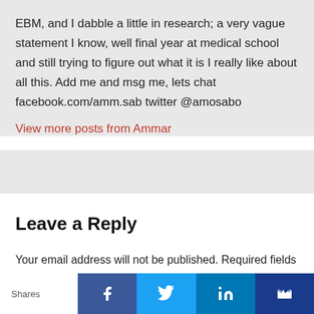EBM, and I dabble a little in research; a very vague statement I know, well final year at medical school and still trying to figure out what it is I really like about all this. Add me and msg me, lets chat facebook.com/amm.sab twitter @amosabo
View more posts from Ammar
Leave a Reply
Your email address will not be published. Required fields are marked *